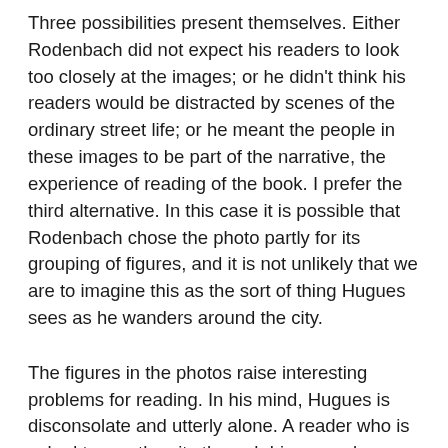Three possibilities present themselves. Either Rodenbach did not expect his readers to look too closely at the images; or he didn't think his readers would be distracted by scenes of the ordinary street life; or he meant the people in these images to be part of the narrative, the experience of reading of the book. I prefer the third alternative. In this case it is possible that Rodenbach chose the photo partly for its grouping of figures, and it is not unlikely that we are to imagine this as the sort of thing Hugues sees as he wanders around the city.
The figures in the photos raise interesting problems for reading. In his mind, Hugues is disconsolate and utterly alone. A reader who is asked to see the city through his eyes also sees these figures, and they become parts of the book's narrative. But the narrator doesn't mention them, and so they become spectral narratives, detached from the prose. They are an unusual kind of thing in literature, and I feel like they should have a name. A good name might be imaginary